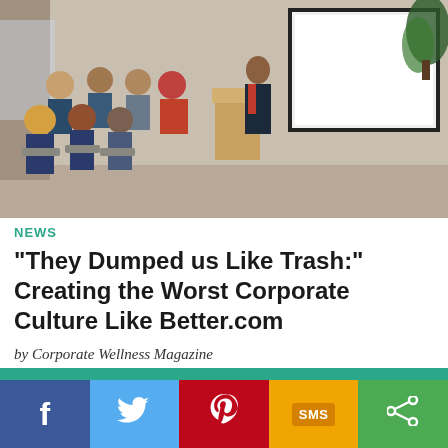[Figure (photo): A business presentation scene: a man in a dark suit stands at a wooden podium presenting to a seated audience in a modern office setting, with a large screen/whiteboard behind him.]
NEWS
“They Dumped us Like Trash:” Creating the Worst Corporate Culture Like Better.com
by Corporate Wellness Magazine
[Figure (infographic): Teal/green colored bar area with social sharing buttons below: Facebook (blue), Twitter (light blue), Pinterest (red), SMS (yellow/gold), Share (green).]